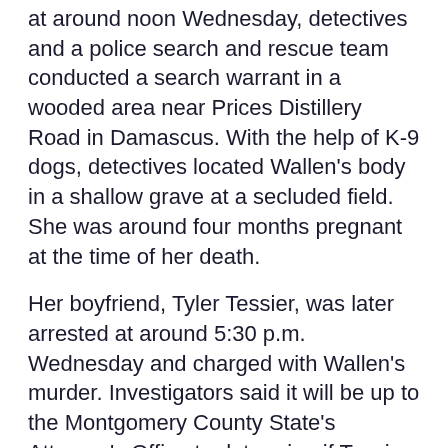at around noon Wednesday, detectives and a police search and rescue team conducted a search warrant in a wooded area near Prices Distillery Road in Damascus. With the help of K-9 dogs, detectives located Wallen's body in a shallow grave at a secluded field. She was around four months pregnant at the time of her death.
Her boyfriend, Tyler Tessier, was later arrested at around 5:30 p.m. Wednesday and charged with Wallen's murder. Investigators said it will be up to the Montgomery County State's Attorney's Office to determine if Tessier will face a murder charge for their unborn child.
DOWNLOAD: The FOX 5 app for breaking news, weather and traffic reports
Chief Manger said investigators determined Tessier was the last person seen with the 31-year-old Olney...